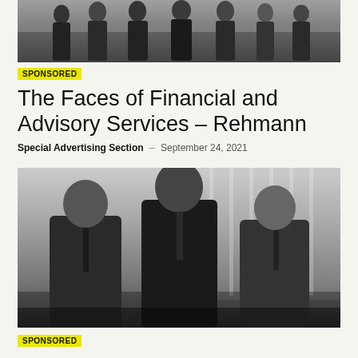[Figure (photo): Black and white group photo of multiple business professionals in suits standing outdoors]
SPONSORED
The Faces of Financial and Advisory Services – Rehmann
Special Advertising Section – September 24, 2021
[Figure (photo): Black and white photo of three business professionals in suits standing indoors near large windows]
SPONSORED